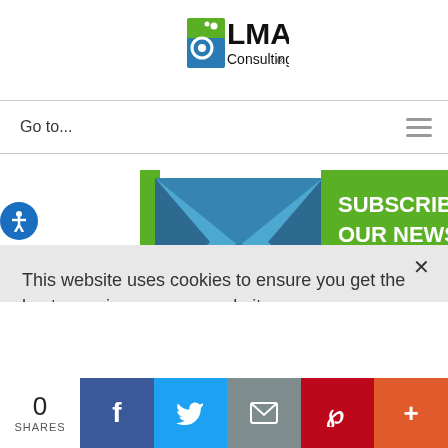[Figure (logo): LMA Consulting Group logo with green and blue gear/document icon and text 'LMA Consulting Group®']
Go to...
[Figure (infographic): Subscribe to Our Newsletters banner with blue envelope icon and green background. Text: 'SUBSCRIBE TO OUR NEWSLETTERS' and 'CLICK HERE!']
This website uses cookies to ensure you get the best experience on our website.
Dismiss
Accept
0
SHARES